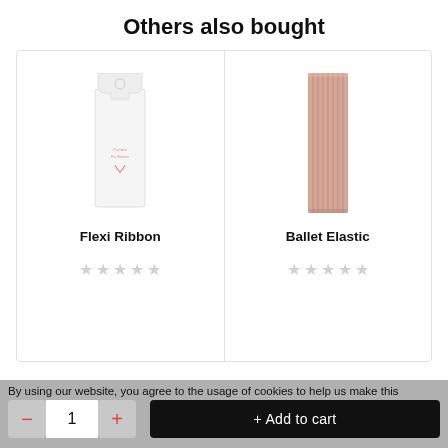Others also bought
[Figure (photo): Flexi Ribbon product in white packaging with pink logo]
Flexi Ribbon
[Figure (photo): Ballet Elastic product, rose gold colored elastic strips bundled together]
Ballet Elastic
By using our website, you agree to the usage of cookies to help us make this
1
+ Add to cart